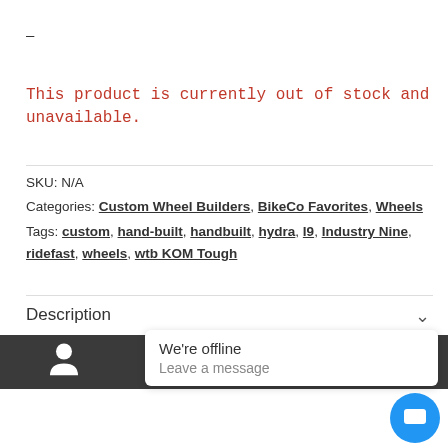–
This product is currently out of stock and unavailable.
SKU: N/A
Categories: Custom Wheel Builders, BikeCo Favorites, Wheels
Tags: custom, hand-built, handbuilt, hydra, I9, Industry Nine, ridefast, wheels, wtb KOM Tough
Description